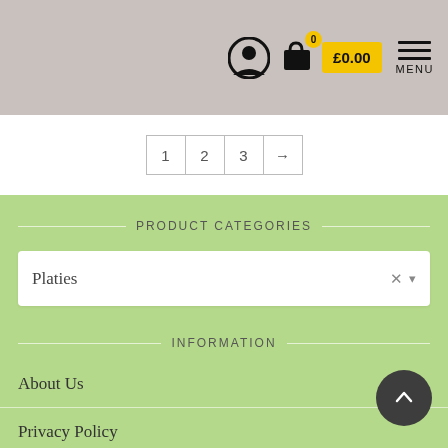£0.00 MENU
1 2 3 →
PRODUCT CATEGORIES
Platies
INFORMATION
About Us
Privacy Policy
Terms and Conditions
Delivery Conditions
Contact Us